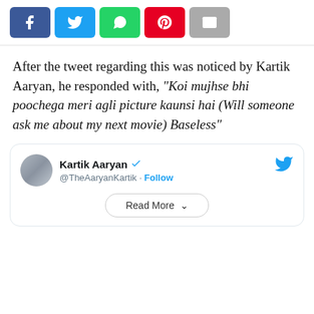[Figure (infographic): Social media share buttons row: Facebook (blue), Twitter (cyan), WhatsApp (green), Pinterest (red), Email (grey)]
After the tweet regarding this was noticed by Kartik Aaryan, he responded with, “Koi mujhse bhi poochega meri agli picture kaunsi hai (Will someone ask me about my next movie) Baseless”
[Figure (screenshot): Embedded tweet card from Kartik Aaryan (@TheAaryanKartik) with Follow button and Read More button. Twitter bird logo top right.]